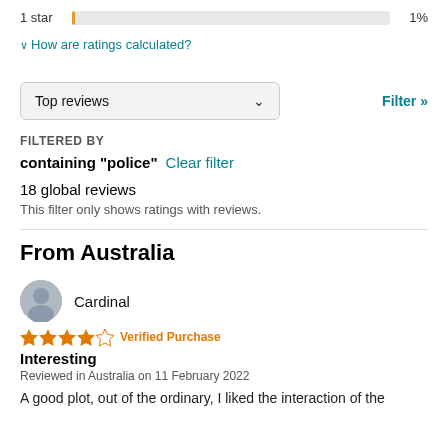1 star  1%
∨ How are ratings calculated?
Top reviews  ∨   Filter »
FILTERED BY
containing "police"  Clear filter
18 global reviews
This filter only shows ratings with reviews.
From Australia
Cardinal
[Figure (infographic): 4 out of 5 stars rating with orange star icons]
Verified Purchase
Interesting
Reviewed in Australia on 11 February 2022
A good plot, out of the ordinary, I liked the interaction of the